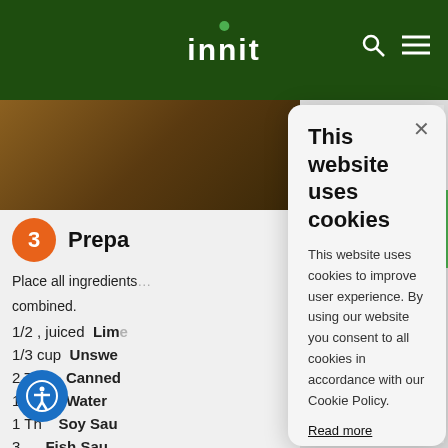[Figure (screenshot): Innit website header with dark green background, white logo text 'innit' with green dot, search icon and menu icon on the right]
[Figure (screenshot): Background recipe website content showing step 3 'Prepa...' with orange circle numbered 3, ingredients list including lime, unsweetened, canned, water, soy sauce, fish sauce]
This website uses cookies
This website uses cookies to improve user experience. By using our website you consent to all cookies in accordance with our Cookie Policy.
Read more
STRICTLY NECESSARY
PERFORMANCE
TARGETING
FUNCTIONALITY
ACCEPT ALL
DECLINE ALL
SHOW DETAILS